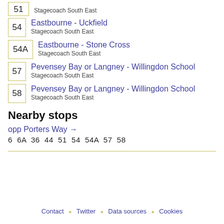51 - Stagecoach South East (partial)
54 - Eastbourne - Uckfield - Stagecoach South East
54A - Eastbourne - Stone Cross - Stagecoach South East
57 - Pevensey Bay or Langney - Willingdon School - Stagecoach South East
58 - Pevensey Bay or Langney - Willingdon School - Stagecoach South East
Nearby stops
opp Porters Way →
6  6A  36  44  51  54  54A  57  58
Contact · Twitter · Data sources · Cookies